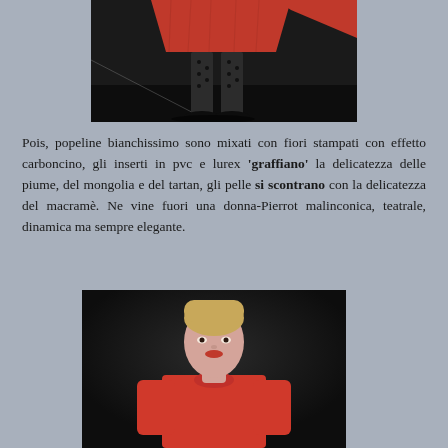[Figure (photo): Fashion runway photo showing lower body of model wearing a red pleated skirt with dotted/patterned tights and black shoes on a dark runway]
Pois, popeline bianchissimo sono mixati con fiori stampati con effetto carboncino, gli inserti in pvc e lurex 'graffiano' la delicatezza delle piume, del mongolia e del tartan, gli pelle si scontrano con la delicatezza del macramè. Ne vine fuori una donna-Pierrot malinconica, teatrale, dinamica ma sempre elegante.
[Figure (photo): Fashion runway photo showing a model wearing a red long-sleeve structured dress with red lips and blonde hair pulled back, photographed against a dark background]